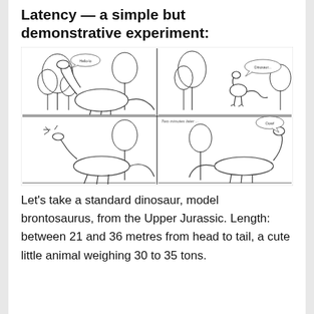Latency — a simple but demonstrative experiment:
[Figure (illustration): A four-panel comic strip showing two dinosaurs (brontosauruses) and a smaller bipedal dinosaur. In the top-left panel, the brontosaurus says 'Hello-lo' to the smaller dinosaur among trees. In the top-right panel, the smaller dinosaur says 'Dinosaur...' In the bottom-left panel, the brontosaurus is struck by the smaller dinosaur's tail. In the bottom-right panel labeled 'Two minutes later...', the brontosaurus says 'Oow!' illustrating nerve signal latency.]
Let's take a standard dinosaur, model brontosaurus, from the Upper Jurassic. Length: between 21 and 36 metres from head to tail, a cute little animal weighing 30 to 35 tons.